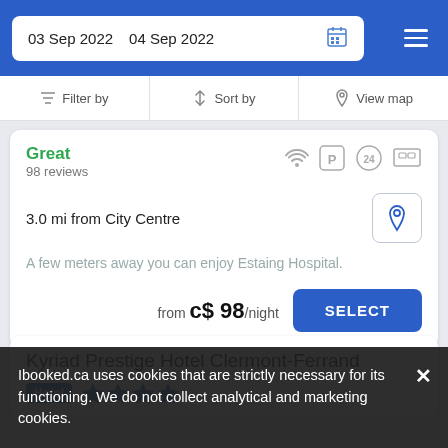03 Sep 2022   04 Sep 2022
Filter by   Sort by   View map
Great
98 reviews
3.0 mi from City Centre
A few meters away you can enjoy Estaing Hospital.
from c$ 98/night   SELECT
Kyriad Prestige Hotel Clermont-Ferrand
Hotel ★★★★
Ibooked.ca uses cookies that are strictly necessary for its functioning. We do not collect analytical and marketing cookies.